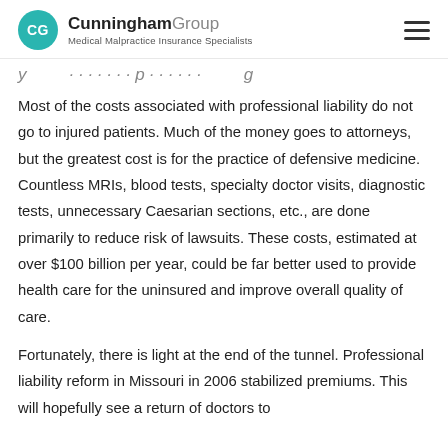CG Cunningham Group — Medical Malpractice Insurance Specialists
y... ...p... ...g...
Most of the costs associated with professional liability do not go to injured patients. Much of the money goes to attorneys, but the greatest cost is for the practice of defensive medicine. Countless MRIs, blood tests, specialty doctor visits, diagnostic tests, unnecessary Caesarian sections, etc., are done primarily to reduce risk of lawsuits. These costs, estimated at over $100 billion per year, could be far better used to provide health care for the uninsured and improve overall quality of care.
Fortunately, there is light at the end of the tunnel. Professional liability reform in Missouri in 2006 stabilized premiums. This will hopefully see a return of doctors to...